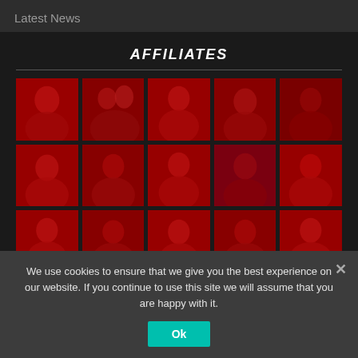Latest News
AFFILIATES
[Figure (photo): Grid of 15 affiliate portrait photos with red overlay tint, arranged in 3 rows of 5 columns. Each cell shows a person portrait with a dark red color filter applied.]
We use cookies to ensure that we give you the best experience on our website. If you continue to use this site we will assume that you are happy with it.